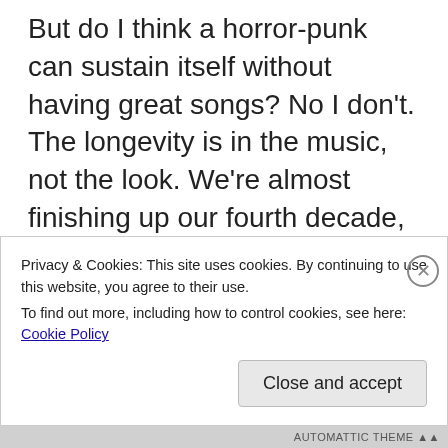But do I think a horror-punk can sustain itself without having great songs? No I don't. The longevity is in the music, not the look. We're almost finishing up our fourth decade, we're going into our 38th year, and my job is to try to keep the band together for fifty. In that time, I'll build my catalogue to a point where I have stuff all over the place, so when people make movies in the future, they can come back to a Misfits catalogue and pick a really great song that fits any application. I'm not limiting myself to being a horror-punk band. Did
Privacy & Cookies: This site uses cookies. By continuing to use this website, you agree to their use.
To find out more, including how to control cookies, see here: Cookie Policy
Close and accept